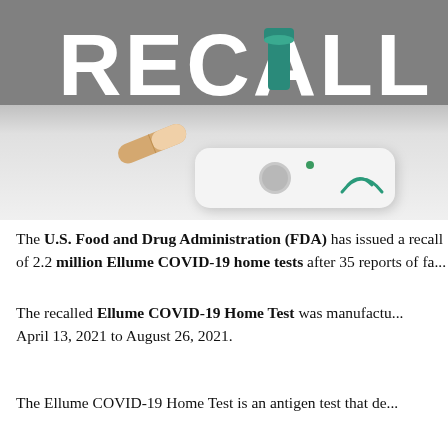[Figure (photo): Banner image with gray background showing large white bold 'RECALL' text, a teal bottle/cap, and a white medical diagnostic device with a pill/capsule in the lower portion of the image.]
The U.S. Food and Drug Administration (FDA) has issued a recall of 2.2 million Ellume COVID-19 home tests after 35 reports of false positive results.
The recalled Ellume COVID-19 Home Test was manufactured between April 13, 2021 to August 26, 2021.
The Ellume COVID-19 Home Test is an antigen test that de...